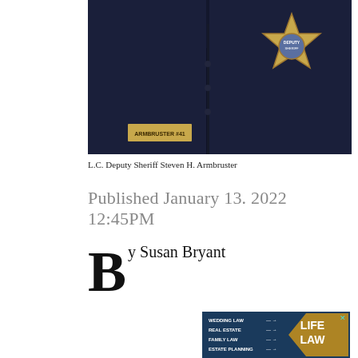[Figure (photo): Close-up photo of a law enforcement officer's uniform showing a name tag reading 'ARMBRUSTER #41' on the left chest and a gold sheriff's star badge on the right chest, dark navy uniform fabric.]
L.C. Deputy Sheriff Steven H. Armbruster
Published January 13. 2022 12:45PM
By Susan Bryant
[Figure (infographic): Advertisement for 'Life Law' showing legal services: Wedding Law, Real Estate, Family Law, Estate Planning with arrows, dark blue background with gold pentagon shape and bold white text 'LIFE LAW'.]